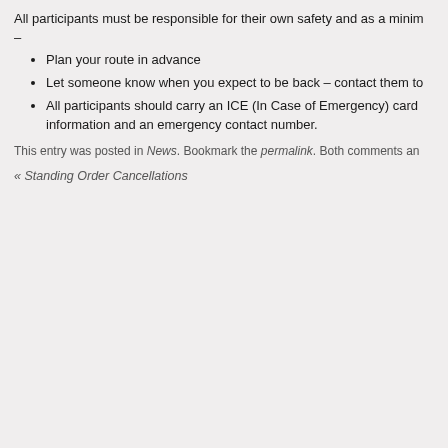All participants must be responsible for their own safety and as a minim –
Plan your route in advance
Let someone know when you expect to be back – contact them to
All participants should carry an ICE (In Case of Emergency) card information and an emergency contact number.
This entry was posted in News. Bookmark the permalink. Both comments an
« Standing Order Cancellations